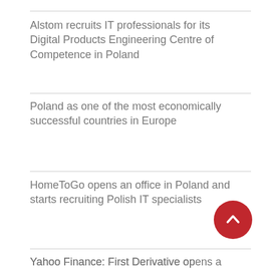Alstom recruits IT professionals for its Digital Products Engineering Centre of Competence in Poland
Poland as one of the most economically successful countries in Europe
HomeToGo opens an office in Poland and starts recruiting Polish IT specialists
Yahoo Finance: First Derivative opens a new office in Łódź, Poland